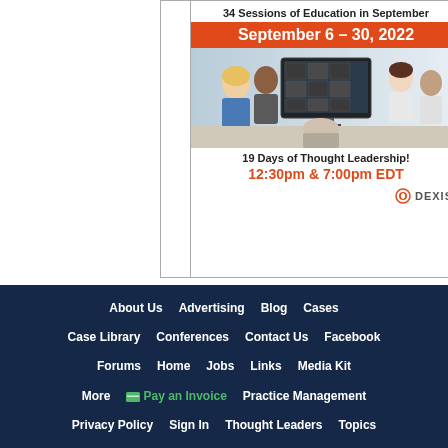[Figure (illustration): DEXIS Days advertisement showing dental imaging software with group of dental professionals reviewing X-rays on screen. Text: '34 Sessions of Education in September', 'September 6 – 30, 2022', '19 Days of Thought Leadership!', '12:30pm & 7:00pm EDT', DEXIS logo.]
About Us
Advertising
Blog
Cases
Case Library
Conferences
Contact Us
Facebook
Forums
Home
Jobs
Links
Media Kit
More
Pay an Invoice
Practice Management
Privacy Policy
Sign In
Thought Leaders
Topics